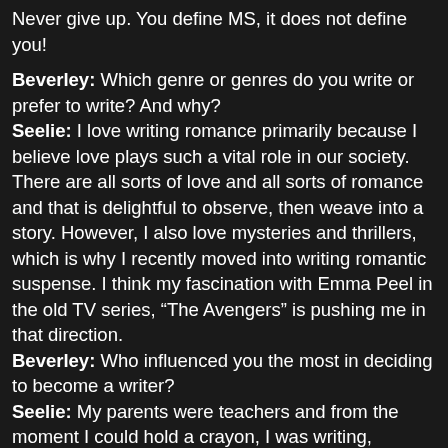Never give up. You define MS, it does not define you!
Beverley: Which genre or genres do you write or prefer to write? And why?
Seelie: I love writing romance primarily because I believe love plays such a vital role in our society. There are all sorts of love and all sorts of romance and that is delightful to observe, then weave into a story. However, I also love mysteries and thrillers, which is why I recently moved into writing romantic suspense. I think my fascination with Emma Peel in the old TV series, “The Avengers” is pushing me in that direction.
Beverley: Who influenced you the most in deciding to become a writer?
Seelie: My parents were teachers and from the moment I could hold a crayon, I was writing, whether it a letter of the alphabet, words, or eventually, a letter of complaint about a parental wrong (they saved them). My parents found opportunities to teach and learn in almost anything, and when they discovered a particular talent or interest, they encouraged it. That wasn’t easy with five kids, but they succeeded. I liked to write and read, and they made sure I